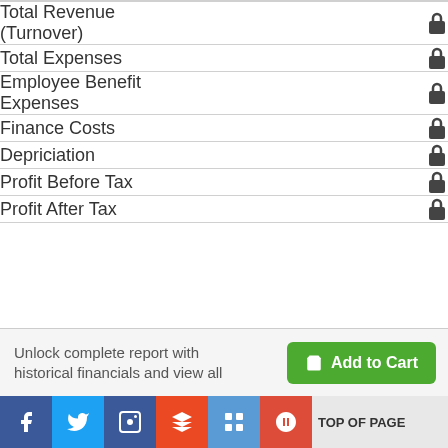| Item | Lock |
| --- | --- |
| Total Revenue (Turnover) | 🔒 |
| Total Expenses | 🔒 |
| Employee Benefit Expenses | 🔒 |
| Finance Costs | 🔒 |
| Depriciation | 🔒 |
| Profit Before Tax | 🔒 |
| Profit After Tax | 🔒 |
Unlock complete report with historical financials and view all
TOP OF PAGE